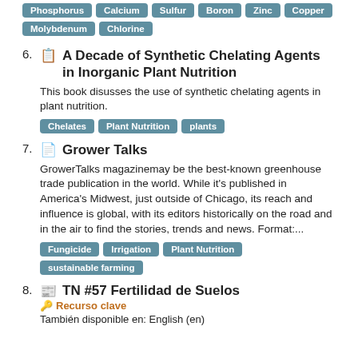Tags: Phosphorus, Calcium, Sulfur, Boron, Zinc, Copper, Molybdenum, Chlorine
6. A Decade of Synthetic Chelating Agents in Inorganic Plant Nutrition. This book disusses the use of synthetic chelating agents in plant nutrition. Tags: Chelates, Plant Nutrition, plants
7. Grower Talks. GrowerTalks magazinemay be the best-known greenhouse trade publication in the world. While it's published in America's Midwest, just outside of Chicago, its reach and influence is global, with its editors historically on the road and in the air to find the stories, trends and news. Format:... Tags: Fungicide, Irrigation, Plant Nutrition, sustainable farming
8. TN #57 Fertilidad de Suelos. Recurso clave. También disponible en: English (en)